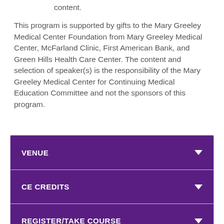content.
This program is supported by gifts to the Mary Greeley Medical Center Foundation from Mary Greeley Medical Center, McFarland Clinic, First American Bank, and Green Hills Health Care Center. The content and selection of speaker(s) is the responsibility of the Mary Greeley Medical Center for Continuing Medical Education Committee and not the sponsors of this program.
VENUE
CE CREDITS
REGISTER/TAKE COURSE